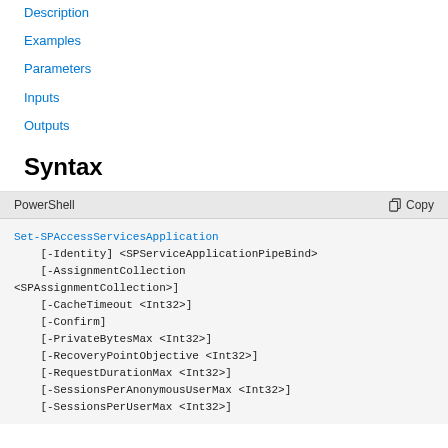Description
Examples
Parameters
Inputs
Outputs
Syntax
PowerShell   Copy
Set-SPAccessServicesApplication
    [-Identity] <SPServiceApplicationPipeBind>
    [-AssignmentCollection <SPAssignmentCollection>]
    [-CacheTimeout <Int32>]
    [-Confirm]
    [-PrivateBytesMax <Int32>]
    [-RecoveryPointObjective <Int32>]
    [-RequestDurationMax <Int32>]
    [-SessionsPerAnonymousUserMax <Int32>]
    [-SessionsPerUserMax <Int32>]